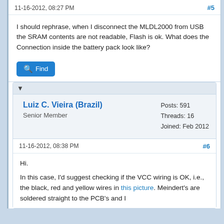11-16-2012, 08:27 PM  #5
I should rephrase, when I disconnect the MLDL2000 from USB the SRAM contents are not readable, Flash is ok. What does the Connection inside the battery pack look like?
▼
Luiz C. Vieira (Brazil)
Senior Member
Posts: 591
Threads: 16
Joined: Feb 2012
11-16-2012, 08:38 PM  #6
Hi.

In this case, I'd suggest checking if the VCC wiring is OK, i.e., the black, red and yellow wires in this picture. Meindert's are soldered straight to the PCB's and I